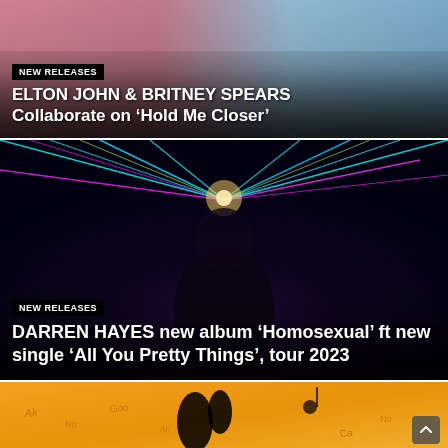[Figure (photo): News card with photo of Elton John and Britney Spears, pink and blue tones]
NEW RELEASES
ELTON JOHN & BRITNEY SPEARS Collaborate on ‘Hold Me Closer’
[Figure (photo): News card with photo of Darren Hayes performing with colorful laser lights on dark background]
NEW RELEASES
DARREN HAYES new album ‘Homosexual’ ft new single ‘All You Pretty Things’, tour 2023
[Figure (photo): Partial news card with orange illustrated background, partially visible]